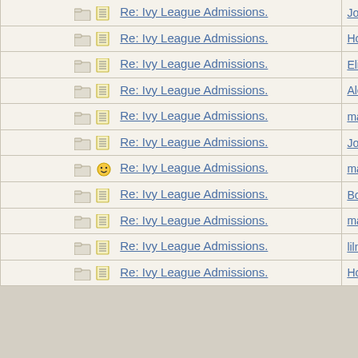| Subject | Author |
| --- | --- |
| Re: Ivy League Admissions. | JonLaw |
| Re: Ivy League Admissions. | HowlerK |
| Re: Ivy League Admissions. | Elizabeth |
| Re: Ivy League Admissions. | AlexsMo |
| Re: Ivy League Admissions. | madeinu |
| Re: Ivy League Admissions. | JonLaw |
| Re: Ivy League Admissions. | madeinu |
| Re: Ivy League Admissions. | Bostonia |
| Re: Ivy League Admissions. | madeinu |
| Re: Ivy League Admissions. | lilmisssu |
| Re: Ivy League Admissions. | HowlerK |